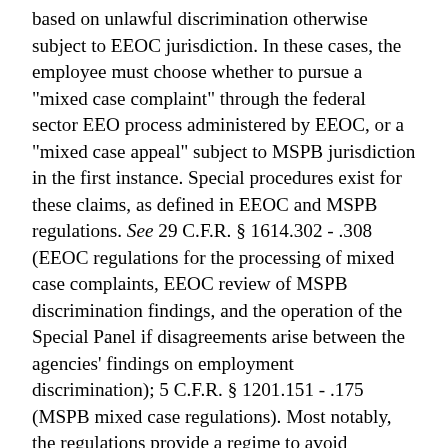based on unlawful discrimination otherwise subject to EEOC jurisdiction. In these cases, the employee must choose whether to pursue a "mixed case complaint" through the federal sector EEO process administered by EEOC, or a "mixed case appeal" subject to MSPB jurisdiction in the first instance. Special procedures exist for these claims, as defined in EEOC and MSPB regulations. See 29 C.F.R. § 1614.302 - .308 (EEOC regulations for the processing of mixed case complaints, EEOC review of MSPB discrimination findings, and the operation of the Special Panel if disagreements arise between the agencies' findings on employment discrimination); 5 C.F.R. § 1201.151 - .175 (MSPB mixed case regulations). Most notably, the regulations provide a regime to avoid duplication of efforts, and also a method to ensure that a forum remains open for pursuing discrimination claims should the MSPB reject jurisdiction. See 29 C.F.R. §1614.302(c) (providing procedures to hold